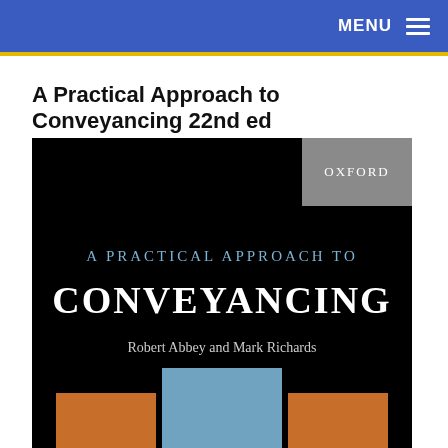MENU
A Practical Approach to Conveyancing 22nd ed
[Figure (illustration): Book cover of 'A Practical Approach to Conveyancing' by Robert Abbey and Mark Richards, published by Oxford University Press. Black background with Oxford badge top right, title text in white and light blue, authors' names below, and decorative colored squares at the bottom.]